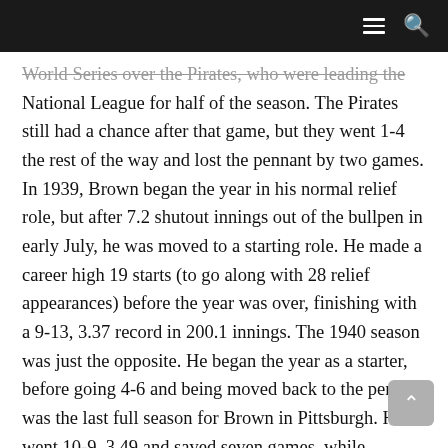≡ 🔍
World Series over the Pirates, who were leading the National League for half of the season. The Pirates still had a chance after that game, but they went 1-4 the rest of the way and lost the pennant by two games. In 1939, Brown began the year in his normal relief role, but after 7.2 shutout innings out of the bullpen in early July, he was moved to a starting role. He made a career high 19 starts (to go along with 28 relief appearances) before the year was over, finishing with a 9-13, 3.37 record in 200.1 innings. The 1940 season was just the opposite. He began the year as a starter, before going 4-6 and being moved back to the pen. It was the last full season for Brown in Pittsburgh. He went 10-9, 3.49 and saved seven games, while pitching a total of 173 innings over 17 starts and 31 relief appearances. Despite pitching four more years in the